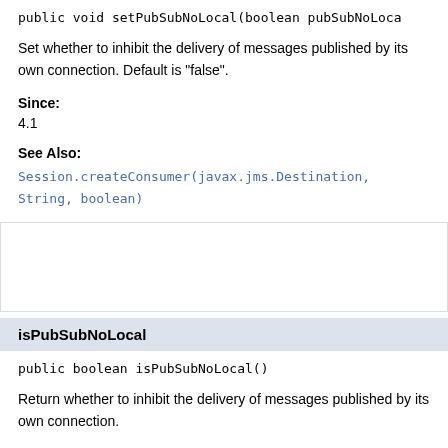public void setPubSubNoLocal(boolean pubSubNoLoca
Set whether to inhibit the delivery of messages published by its own connection. Default is "false".
Since:
4.1
See Also:
Session.createConsumer(javax.jms.Destination, String, boolean)
isPubSubNoLocal
public boolean isPubSubNoLocal()
Return whether to inhibit the delivery of messages published by its own connection.
Since:
4.1